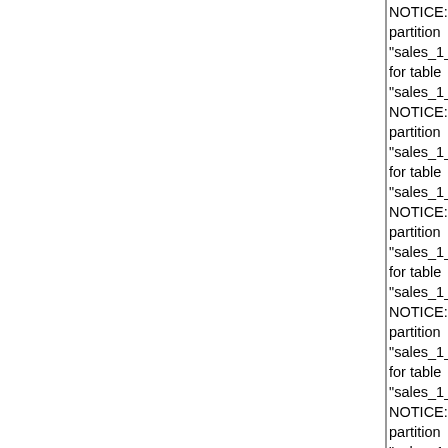NOTICE: CREATE TABLE will create partition "sales_1_prt_outlying_years_2_prt_5_3_prt_us for table "sales_1_prt_outlying_years_2_prt_5" NOTICE: CREATE TABLE will create partition "sales_1_prt_outlying_years_2_prt_5_3_prt_eu for table "sales_1_prt_outlying_years_2_prt_5" NOTICE: CREATE TABLE will create partition "sales_1_prt_outlying_years_2_prt_5_3_prt_as for table "sales_1_prt_outlying_years_2_prt_5" NOTICE: CREATE TABLE will create partition "sales_1_prt_outlying_years_2_prt_5_3_prt_oth for table "sales_1_prt_outlying_years_2_prt_5" NOTICE: CREATE TABLE will create partition "sales_1_prt_outlying_years_2_prt_6_3_prt_us for table "sales_1_prt_outlying_years_2_prt_6" NOTICE: CREATE TABLE will create partition "sales_1_prt_outlying_years_2_prt_6_3_prt_eu for table "sales_1_prt_outlying_years_2_prt_6" NOTICE: CREATE TABLE will create